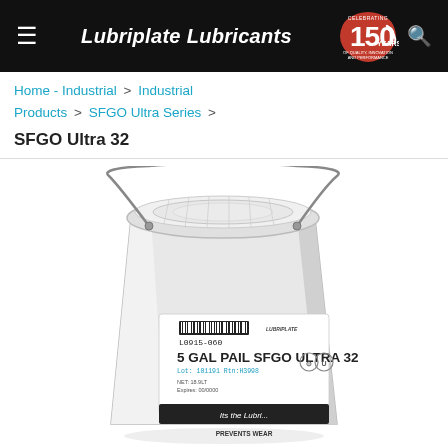≡  Lubriplate Lubricants  [150 Years logo]  🔍
Home - Industrial > Industrial Products > SFGO Ultra Series >
SFGO Ultra 32
[Figure (photo): White 5-gallon pail of Lubriplate SFGO Ultra 32 industrial lubricant with label showing '5 GAL PAIL SFGO ULTRA 32', barcode, lot number, and various certification marks. Metal wire bail handle visible.]